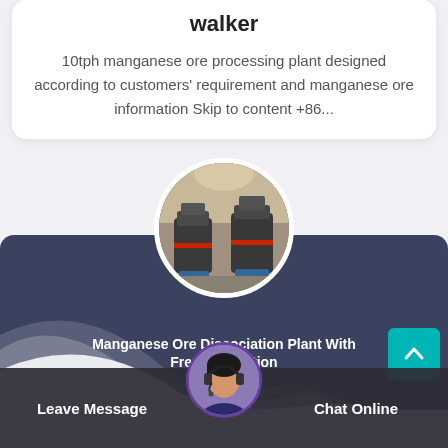walker
10tph manganese ore processing plant designed according to customers' requirement and manganese ore information Skip to content +86...
[Figure (photo): Circular photo of industrial manganese ore processing machinery (cone crushers) in a warehouse/factory setting]
[Figure (illustration): Dark navy banner section with wave/swoosh white shape at the bottom]
[Figure (photo): Circular avatar of a female customer service representative wearing a headset]
Manganese Ore Dissociation Plant With Free Installation
Leave Message
Chat Online